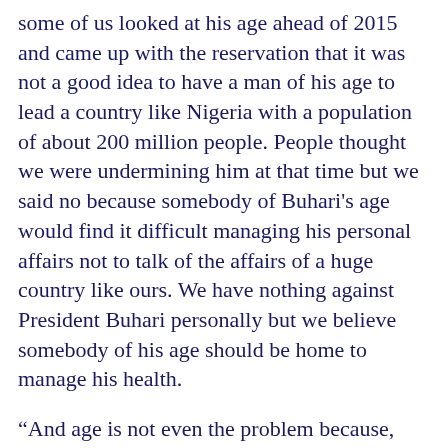some of us looked at his age ahead of 2015 and came up with the reservation that it was not a good idea to have a man of his age to lead a country like Nigeria with a population of about 200 million people. People thought we were undermining him at that time but we said no because somebody of Buhari's age would find it difficult managing his personal affairs not to talk of the affairs of a huge country like ours. We have nothing against President Buhari personally but we believe somebody of his age should be home to manage his health.
“And age is not even the problem because, when you look at global events, the way things are turning around universally, you will agree with me that we need, in the saddle, somebody who is in tune with the global reality. We need people who are digitalization compliant to turn things around in terms of intellectual capacity, in terms of globalization and people who will